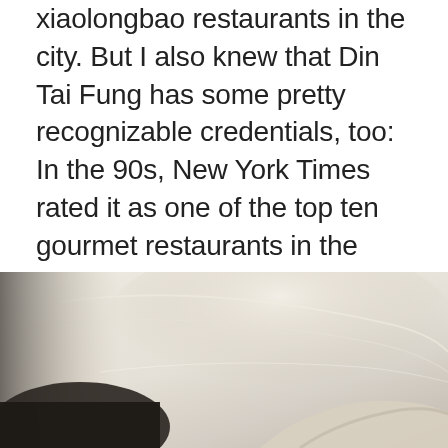xiaolongbao restaurants in the city. But I also knew that Din Tai Fung has some pretty recognizable credentials, too: In the 90s, New York Times rated it as one of the top ten gourmet restaurants in the world; it opened three new branches in 2015 alone; and its website boasts praises from critics in well-known publications like Times and the Michelin Guide.
[Figure (photo): Close-up photo of what appears to be dumplings or dim sum being prepared or served, with a soft beige/gray background and hands visible at the bottom.]